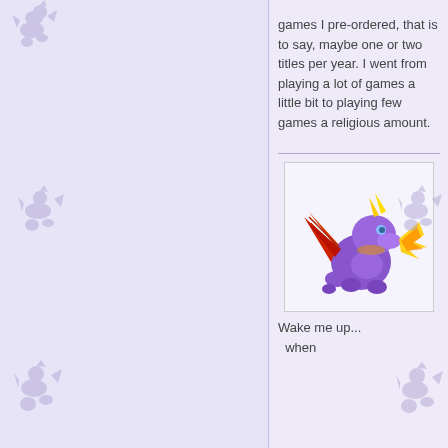games I pre-ordered, that is to say, maybe one or two titles per year.  I went from playing a lot of games a little bit to playing few games a religious amount.
[Figure (illustration): Pixel art illustration of Spyro the Dragon (purple dragon) breathing fire, with red wings and yellow flame]
Wake me up...  when